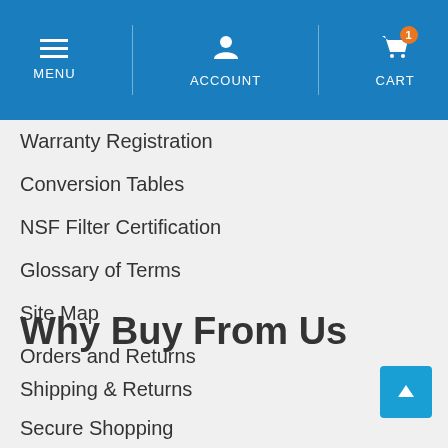MENU | ACCOUNT | CART
Warranty Registration
Conversion Tables
NSF Filter Certification
Glossary of Terms
Site Map
Orders and Returns
Blog
Contact Us
Why Buy From Us
Shipping & Returns
Secure Shopping